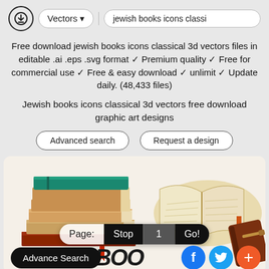Vectors ▾  |  jewish books icons classi
Free download jewish books icons classical 3d vectors files in editable .ai .eps .svg format ✓ Premium quality ✓ Free for commercial use ✓ Free & easy download ✓ unlimit ✓ Update daily. (48,433 files)
Jewish books icons classical 3d vectors free download graphic art designs
Advanced search   Request a design
[Figure (illustration): Illustration of stacked Jewish books with a green-covered book on top on the left, an open book with pages fanned out in the center-right, and a brown leather-bound book on the far right. Page navigation bar shows Page: Stop 1 Go!. Advance Search button at bottom-left. Social media icons (Facebook, Twitter, plus) at bottom-right. 'BOO' text in cursive at bottom-center.]